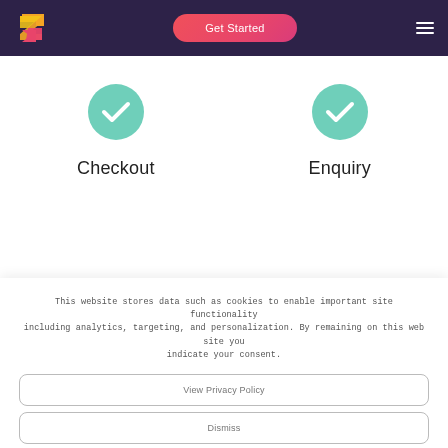[Figure (logo): Zymbol/Z logo in orange and pink on dark purple background]
Get Started
[Figure (illustration): Hamburger menu icon (three horizontal white lines)]
[Figure (illustration): Teal circle with white checkmark — Checkout]
Checkout
[Figure (illustration): Teal circle with white checkmark — Enquiry]
Enquiry
This website stores data such as cookies to enable important site functionality including analytics, targeting, and personalization. By remaining on this web site you indicate your consent.
View Privacy Policy
Dismiss